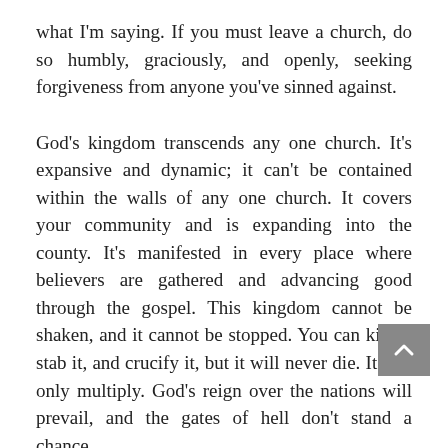what I'm saying. If you must leave a church, do so humbly, graciously, and openly, seeking forgiveness from anyone you've sinned against.
God's kingdom transcends any one church. It's expansive and dynamic; it can't be contained within the walls of any one church. It covers your community and is expanding into the county. It's manifested in every place where believers are gathered and advancing good through the gospel. This kingdom cannot be shaken, and it cannot be stopped. You can kill it, stab it, and crucify it, but it will never die. It will only multiply. God's reign over the nations will prevail, and the gates of hell don't stand a chance.
So we must go. We cannot stay put. We cannot